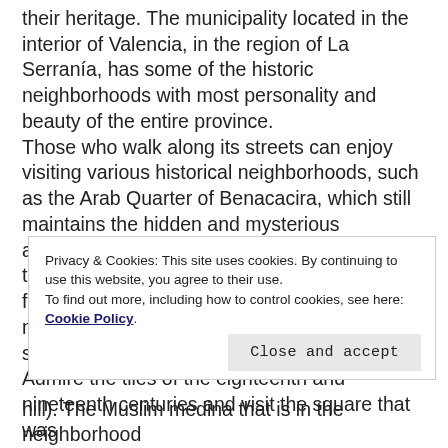their heritage. The municipality located in the interior of Valencia, in the region of La Serranía, has some of the historic neighborhoods with most personality and beauty of the entire province. Those who walk along its streets can enjoy visiting various historical neighborhoods, such as the Arab Quarter of Benacacira, which still maintains the hidden and mysterious ambiance of that culture. Its narrow streets, the sound of water from its countless fountains, its whitewashed houses, evoke the memories of a medieval city built on a hill and surrounded by walls to ensure its defense. Admire the tiles of the eighteenth and nineteenth centuries and visit the square that was
Privacy & Cookies: This site uses cookies. By continuing to use this website, you agree to their use.
To find out more, including how to control cookies, see here: Cookie Policy
Close and accept
hill). The Muslim medina that is in the neighborhood